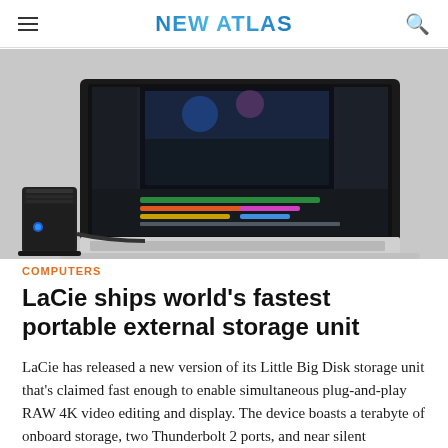NEW ATLAS
[Figure (photo): A LaCie Little Big Disk Thunderbolt 2 external storage unit connected via cable to an Apple MacBook Pro laptop displaying video editing software on screen.]
COMPUTERS
LaCie ships world's fastest portable external storage unit
LaCie has released a new version of its Little Big Disk storage unit that's claimed fast enough to enable simultaneous plug-and-play RAW 4K video editing and display. The device boasts a terabyte of onboard storage, two Thunderbolt 2 ports, and near silent